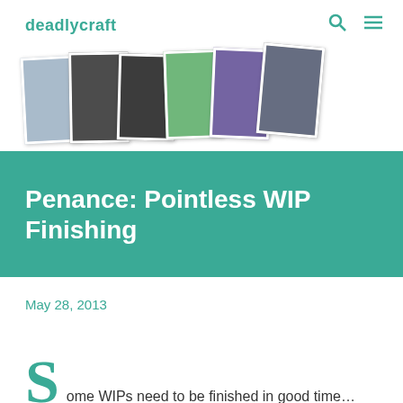deadlycraft
[Figure (photo): Collage of six fashion/sewing photos showing various outfits, arranged in a fan/spread layout]
Penance: Pointless WIP Finishing
May 28, 2013
Some WIPs need to be finished in good time…